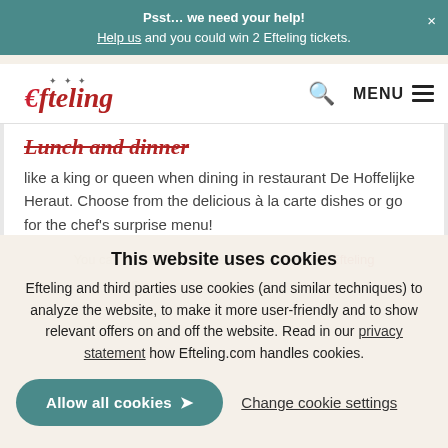Psst... we need your help! Help us and you could win 2 Efteling tickets.
[Figure (logo): Efteling logo with crown decoration and italic red text]
Lunch and dinner
like a king or queen when dining in restaurant De Hoffelijke Heraut. Choose from the delicious à la carte dishes or go for the chef's surprise menu!
You can make an online reservation for your Efteling
This website uses cookies
Efteling and third parties use cookies (and similar techniques) to analyze the website, to make it more user-friendly and to show relevant offers on and off the website. Read in our privacy statement how Efteling.com handles cookies.
Allow all cookies
Change cookie settings